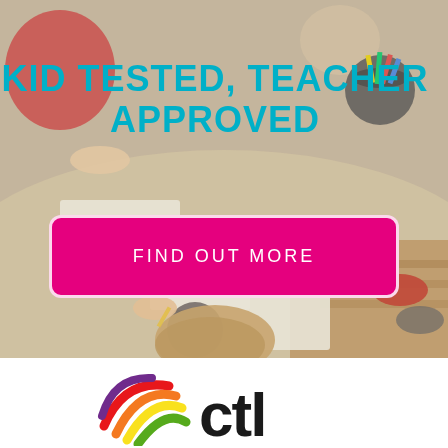[Figure (photo): Overhead/bird's-eye view photo of children sitting around a table, drawing or coloring on paper. Crayons and crayon containers visible on the table. Children's hands and heads visible from above.]
KID TESTED, TEACHER APPROVED
FIND OUT MORE
[Figure (logo): CTL company logo with a colorful globe/swoosh icon (red, orange, yellow, green arcs) to the left of bold black letters 'ctl']